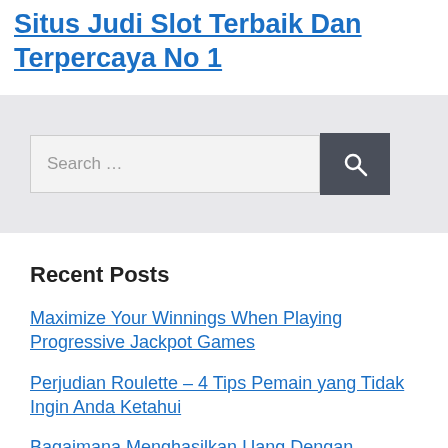Situs Judi Slot Terbaik Dan Terpercaya No 1
Search …
Recent Posts
Maximize Your Winnings When Playing Progressive Jackpot Games
Perjudian Roulette – 4 Tips Pemain yang Tidak Ingin Anda Ketahui
Bagaimana Menghasilkan Uang Dengan